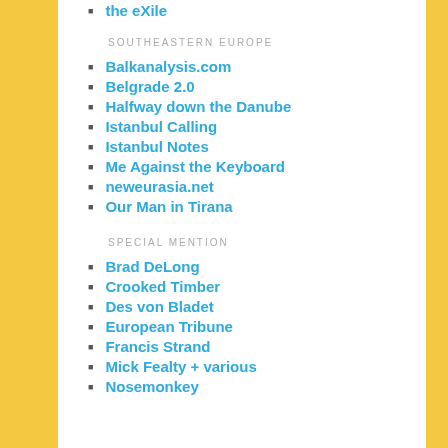the eXile
SOUTHEASTERN EUROPE
Balkanalysis.com
Belgrade 2.0
Halfway down the Danube
Istanbul Calling
Istanbul Notes
Me Against the Keyboard
neweurasia.net
Our Man in Tirana
SPECIAL MENTION
Brad DeLong
Crooked Timber
Des von Bladet
European Tribune
Francis Strand
Mick Fealty + various
Nosemonkey